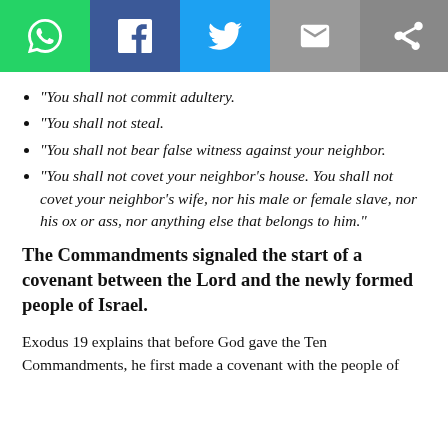[Figure (other): Social media share toolbar with WhatsApp, Facebook, Twitter, Email, and Share buttons]
"You shall not commit adultery.
"You shall not steal.
"You shall not bear false witness against your neighbor.
"You shall not covet your neighbor's house. You shall not covet your neighbor's wife, nor his male or female slave, nor his ox or ass, nor anything else that belongs to him."
The Commandments signaled the start of a covenant between the Lord and the newly formed people of Israel.
Exodus 19 explains that before God gave the Ten Commandments, he first made a covenant with the people of